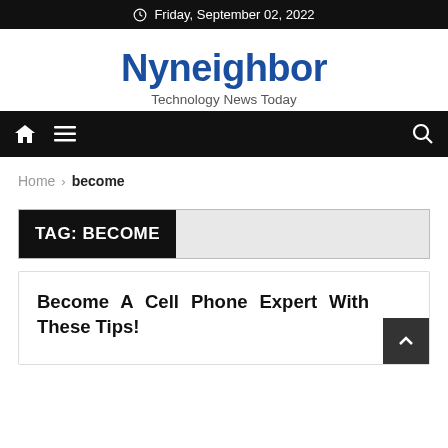Friday, September 02, 2022
Nyneighbor
Technology News Today
Home › become
TAG: BECOME
Become A Cell Phone Expert With These Tips!